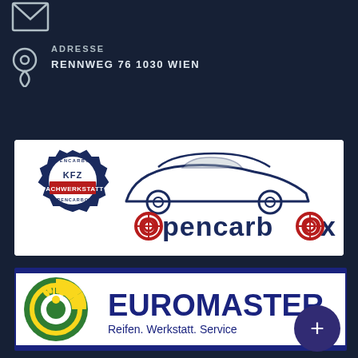[Figure (illustration): Envelope/mail icon at top left, white outline on dark navy background]
ADRESSE
RENNWEG 76 1030 WIEN
[Figure (logo): Opencarbox logo: KFZ Fachwerkstatt badge on left, car silhouette with Opencarbox text on right, on white background]
[Figure (logo): Euromaster logo: green/yellow circular icon on left, EUROMASTER text in dark blue, Reifen. Werkstatt. Service tagline on white background with dark blue border]